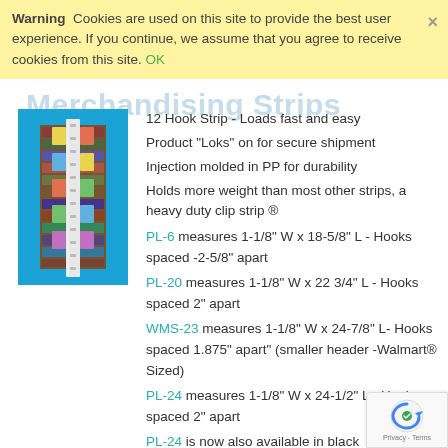Warning  Cookies are used on this site to provide the best user experience. If you continue, we assume that you agree to receive cookies from this site. OK
Merchandising Strips
[Figure (photo): Product photo of a 12-hook merchandising strip on a blue background, showing the strip with products hanging on it in a store-like setting.]
12 Hook Strip - Loads fast and easy
Product "Loks" on for secure shipment
Injection molded in PP for durability
Holds more weight than most other strips, a heavy duty clip strip ®
PL-6 measures 1-1/8" W x 18-5/8" L - Hooks spaced -2-5/8" apart
PL-20 measures 1-1/8" W x 22 3/4" L - Hooks spaced 2" apart
WMS-23 measures 1-1/8" W x 24-7/8" L- Hooks spaced 1.875" apart" (smaller header -Walmart® Sized)
PL-24 measures 1-1/8" W x 24-1/2" L - Hooks spaced 2" apart
PL-24 is now also available in black
PL-30 measures 1-1/8" W x 30" L - Hooks 2 1/2" apart
DSPL-6, DSPL-20, DSPL-24 and DSPL-30 are